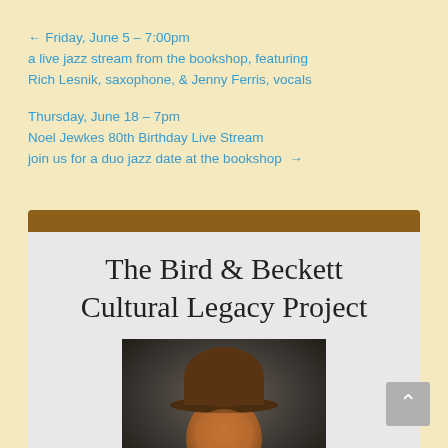← Friday, June 5 – 7:00pm
a live jazz stream from the bookshop, featuring
Rich Lesnik, saxophone, & Jenny Ferris, vocals
Thursday, June 18 – 7pm
Noel Jewkes 80th Birthday Live Stream
join us for a duo jazz date at the bookshop →
[Figure (infographic): Card with brown header bar and title 'The Bird & Beckett Cultural Legacy Project' on grey background, with a photo of a person wearing a dark hat at the bottom]
The Bird & Beckett Cultural Legacy Project